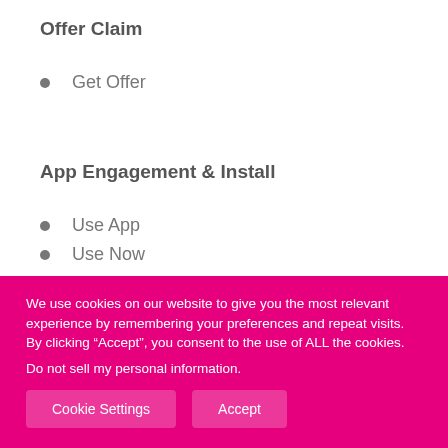Offer Claim
Get Offer
App Engagement & Install
Use App
Use Now
Shop Now
We use cookies on our website to give you the most relevant experience by remembering your preferences and repeat visits. By clicking “Accept”, you consent to the use of ALL the cookies.
Do not sell my personal information.